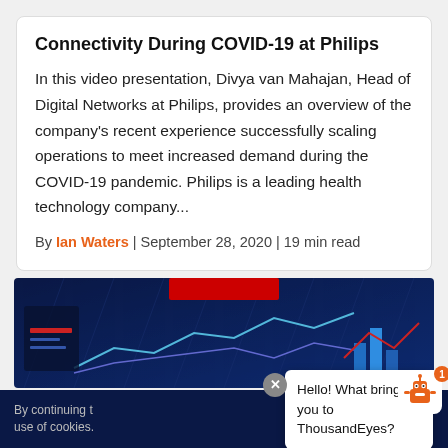Connectivity During COVID-19 at Philips
In this video presentation, Divya van Mahajan, Head of Digital Networks at Philips, provides an overview of the company's recent experience successfully scaling operations to meet increased demand during the COVID-19 pandemic. Philips is a leading health technology company...
By Ian Waters | September 28, 2020 | 19 min read
[Figure (illustration): Dark blue background illustration showing analytics dashboard with line charts and bar charts, a red banner at the top center]
By continuing t... use of cookies.
Hello! What brings you to ThousandEyes?